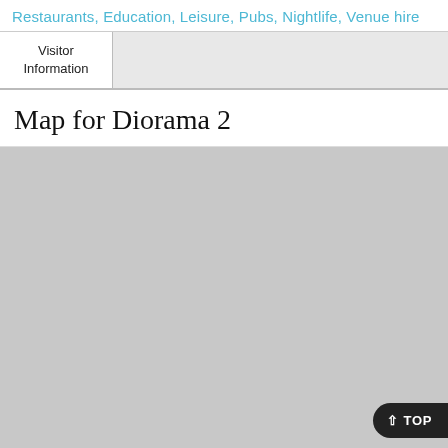Restaurants, Education, Leisure, Pubs, Nightlife, Venue hire
Visitor Information
Map for Diorama 2
[Figure (map): Gray placeholder map area for Diorama 2 location]